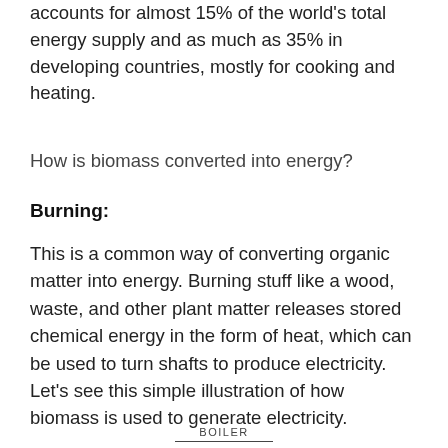accounts for almost 15% of the world's total energy supply and as much as 35% in developing countries, mostly for cooking and heating.
How is biomass converted into energy?
Burning:
This is a common way of converting organic matter into energy. Burning stuff like a wood, waste, and other plant matter releases stored chemical energy in the form of heat, which can be used to turn shafts to produce electricity. Let's see this simple illustration of how biomass is used to generate electricity.
BOILER